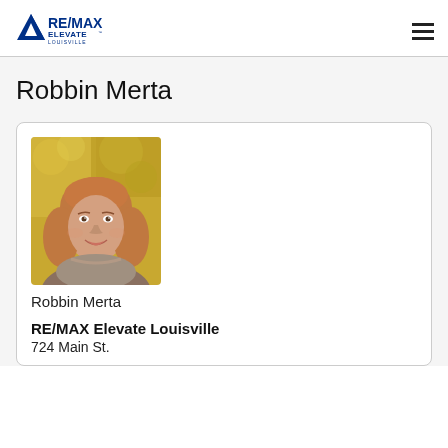RE/MAX Elevate Louisville
Robbin Merta
[Figure (photo): Headshot photo of Robbin Merta, a woman with shoulder-length reddish-blonde hair, smiling, with autumn foliage in the background]
Robbin Merta
RE/MAX Elevate Louisville
724 Main St.
Louisville, CO 80027